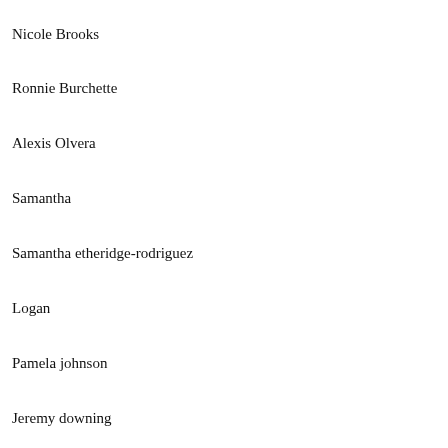Nicole Brooks
Ronnie Burchette
Alexis Olvera
Samantha
Samantha etheridge-rodriguez
Logan
Pamela johnson
Jeremy downing